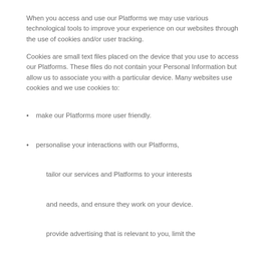When you access and use our Platforms we may use various technological tools to improve your experience on our websites through the use of cookies and/or user tracking.
Cookies are small text files placed on the device that you use to access our Platforms. These files do not contain your Personal Information but allow us to associate you with a particular device. Many websites use cookies and we use cookies to:
make our Platforms more user friendly.
personalise your interactions with our Platforms,
tailor our services and Platforms to your interests
and needs, and ensure they work on your device.
provide advertising that is relevant to you, limit the